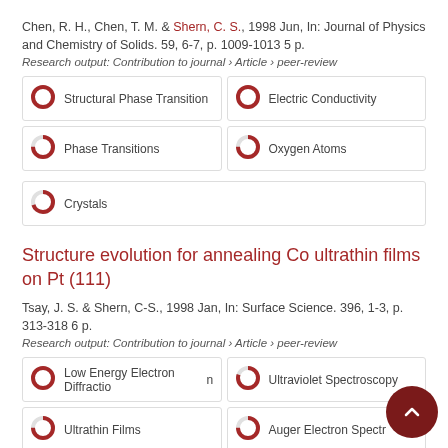Chen, R. H., Chen, T. M. & Shern, C. S., 1998 Jun, In: Journal of Physics and Chemistry of Solids. 59, 6-7, p. 1009-1013 5 p.
Research output: Contribution to journal › Article › peer-review
[Figure (infographic): Keyword badges with donut chart icons: Structural Phase Transition (100%), Electric Conductivity (100%), Phase Transitions (75%), Oxygen Atoms (75%), Crystals (70%)]
Structure evolution for annealing Co ultrathin films on Pt (111)
Tsay, J. S. & Shern, C-S., 1998 Jan, In: Surface Science. 396, 1-3, p. 313-318 6 p.
Research output: Contribution to journal › Article › peer-review
[Figure (infographic): Keyword badges with donut chart icons: Low Energy Electron Diffraction (100%), Ultraviolet Spectroscopy (80%), Ultrathin Films (75%), Auger Electron Spectroscopy (75%), Epitaxial Growth (70%)]